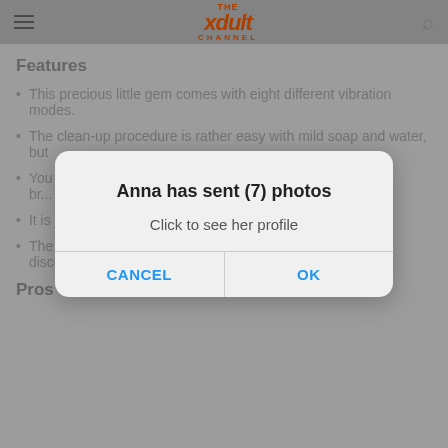The xdult Channel (navigation bar with hamburger menu and search icon)
Features
This precious little gem comes with eight different vibration modes.
The clean-up procedure is rather easy with mild soap and water, but...
You can use it... (obscured) ...used both for the...
It is just for external use only.
The product happens to be a favorite among people for its discreet size.
Pros
[Figure (screenshot): Mobile dialog/alert overlay: 'Anna has sent (7) photos' with subtitle 'Click to see her profile' and two buttons: CANCEL and OK]